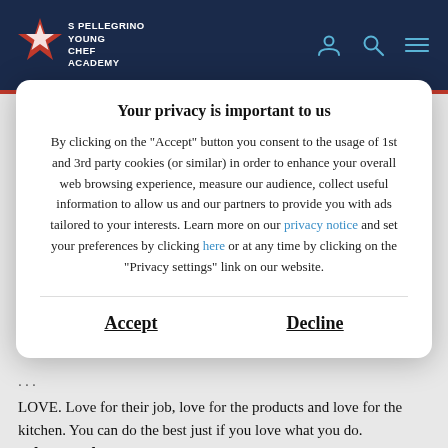S PELLEGRINO YOUNG CHEF ACADEMY
Do you remember one of the big mistakes you made
Your privacy is important to us
By clicking on the "Accept" button you consent to the usage of 1st and 3rd party cookies (or similar) in order to enhance your overall web browsing experience, measure our audience, collect useful information to allow us and our partners to provide you with ads tailored to your interests. Learn more on our privacy notice and set your preferences by clicking here or at any time by clicking on the "Privacy settings" link on our website.
Accept
Decline
LOVE. Love for their job, love for the products and love for the kitchen. You can do the best just if you love what you do.
What are the worst?